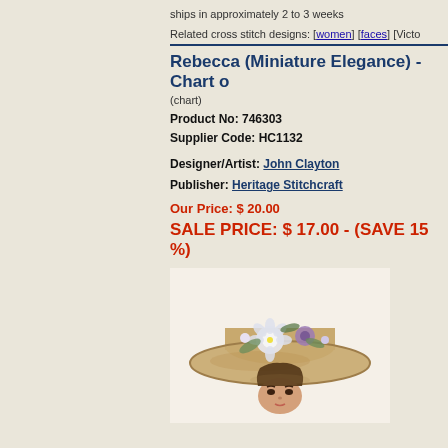ships in approximately 2 to 3 weeks
Related cross stitch designs: [women] [faces] [Victo
Rebecca (Miniature Elegance) - Chart o
(chart)
Product No: 746303
Supplier Code: HC1132
Designer/Artist: John Clayton
Publisher: Heritage Stitchcraft
Our Price: $ 20.00
SALE PRICE: $ 17.00 - (SAVE 15 %)
[Figure (illustration): Cross stitch design preview showing a Victorian woman wearing a wide-brimmed straw hat decorated with flowers including a large white flower, purple flower, and green leaves. The woman's face is visible below the hat brim showing dark eyes and eyebrows.]